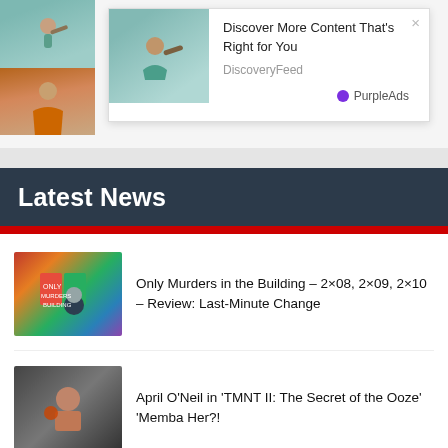[Figure (photo): Two overlapping photo thumbnails at top left: woman in orange dress and person looking through telescope on teal background]
Discover More Content That's Right for You
DiscoveryFeed
PurpleAds
Latest News
Only Murders in the Building – 2×08, 2×09, 2×10 – Review: Last-Minute Change
April O'Neil in 'TMNT II: The Secret of the Ooze' 'Memba Her?!